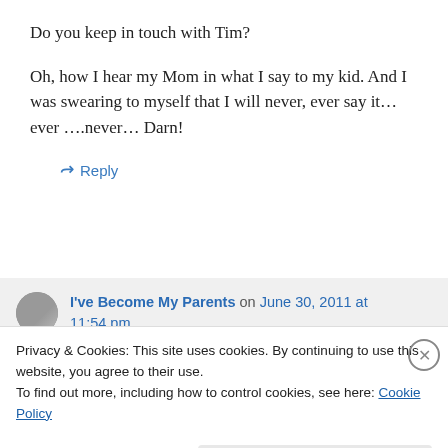Do you keep in touch with Tim?
Oh, how I hear my Mom in what I say to my kid. And I was swearing to myself that I will never, ever say it…ever ….never… Darn!
↵ Reply
I've Become My Parents on June 30, 2011 at 11:54 pm
You have reached this link and did...
Privacy & Cookies: This site uses cookies. By continuing to use this website, you agree to their use.
To find out more, including how to control cookies, see here: Cookie Policy
Close and accept